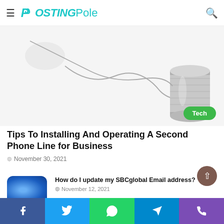PostingPole
[Figure (photo): A tin can telephone (string telephone) with a metallic tin can connected by a string, photographed on a white background, with a green 'Tech' badge in the lower right corner.]
Tips To Installing And Operating A Second Phone Line for Business
November 30, 2021
[Figure (photo): Thumbnail image with blue gradient background for the SBCglobal Email article.]
How do I update my SBCglobal Email address?
November 12, 2021
[Figure (photo): Thumbnail image with blue-grey gradient for the Unused Car article.]
What Could you Get from an Unused Car?
Facebook | Twitter | WhatsApp | Telegram | Phone